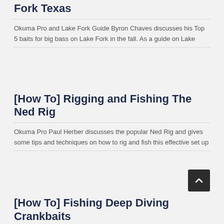Fork Texas
Okuma Pro and Lake Fork Guide Byron Chaves discusses his Top 5 baits for big bass on Lake Fork in the fall. As a guide on Lake
[How To] Rigging and Fishing The Ned Rig
Okuma Pro Paul Herber discusses the popular Ned Rig and gives some tips and techniques on how to rig and fish this effective set up
[How To] Fishing Deep Diving Crankbaits